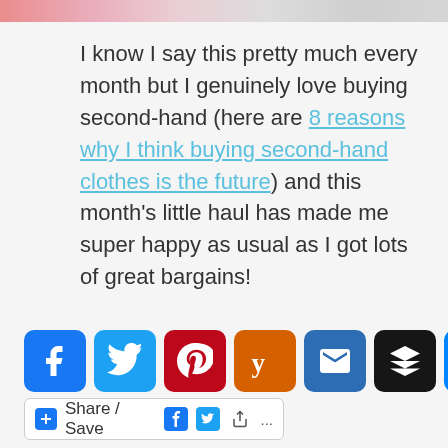[Figure (photo): Top strip showing partial image with pink/red tones, cropped at top of page]
I know I say this pretty much every month but I genuinely love buying second-hand (here are 8 reasons why I think buying second-hand clothes is the future) and this month's little haul has made me super happy as usual as I got lots of great bargains!
[Figure (infographic): Social share buttons row: Facebook, Twitter, Pinterest, Yummly, Email, Buffer, Messenger, Reddit icons]
[Figure (infographic): Share/Save bar with Facebook and Twitter mini icons and ellipsis]